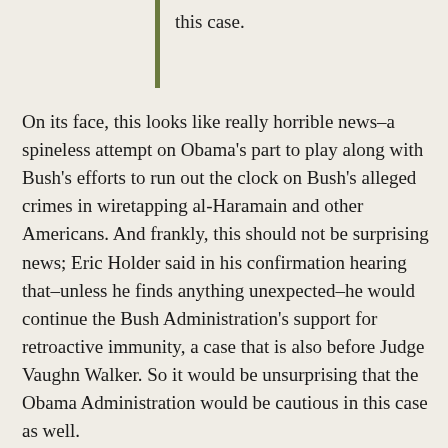this case.
On its face, this looks like really horrible news–a spineless attempt on Obama's part to play along with Bush's efforts to run out the clock on Bush's alleged crimes in wiretapping al-Haramain and other Americans. And frankly, this should not be surprising news; Eric Holder said in his confirmation hearing that–unless he finds anything unexpected–he would continue the Bush Administration's support for retroactive immunity, a case that is also before Judge Vaughn Walker. So it would be unsurprising that the Obama Administration would be cautious in this case as well.
That said, there is some confusion about the whole